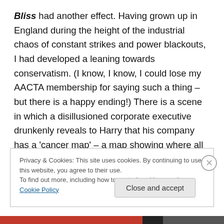Bliss had another effect. Having grown up in England during the height of the industrial chaos of constant strikes and power blackouts, I had developed a leaning towards conservatism. (I know, I know, I could lose my AACTA membership for saying such a thing – but there is a happy ending!) There is a scene in which a disillusioned corporate executive drunkenly reveals to Harry that his company has a 'cancer map' – a map showing where all the cancers are concentrated and which industries are in those areas as the probable causes of those cancers. He
Privacy & Cookies: This site uses cookies. By continuing to use this website, you agree to their use.
To find out more, including how to control cookies, see here: Cookie Policy
Close and accept